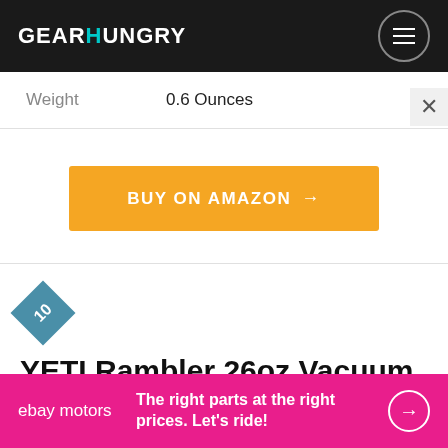GEARHUNGRY
| Weight | 0.6 Ounces |
| --- | --- |
BUY ON AMAZON →
10 YETI Rambler 26oz Vacuum Insulated Stainless Steel
[Figure (other): eBay Motors advertisement banner: The right parts at the right prices. Let's ride!]